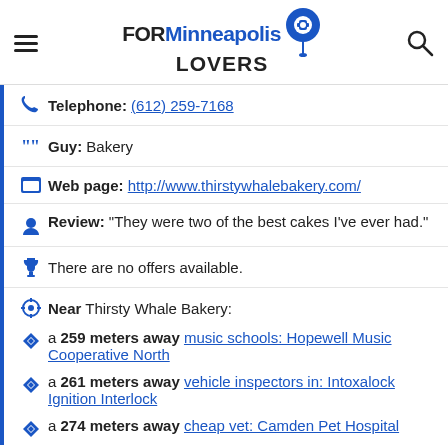FOR Minneapolis LOVERS
Telephone: (612) 259-7168
Guy: Bakery
Web page: http://www.thirstywhalebakery.com/
Review: "They were two of the best cakes I've ever had."
There are no offers available.
Near Thirsty Whale Bakery:
a 259 meters away music schools: Hopewell Music Cooperative North
a 261 meters away vehicle inspectors in: Intoxalock Ignition Interlock
a 274 meters away cheap vet: Camden Pet Hospital